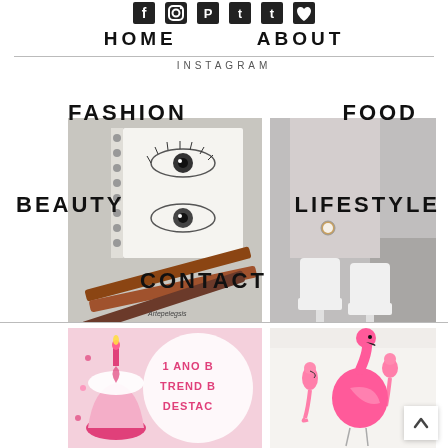Social icons (Facebook, Instagram, Pinterest, Twitter, Tumblr, Bloglovin)
HOME   ABOUT
INSTAGRAM
FASHION
FOOD
BEAUTY
LIFESTYLE
CONTACT
[Figure (photo): Pencil drawings of eyes with colored pencils, watermark Artepelegsis]
[Figure (photo): Woman in grey outfit wearing white ankle boots, sitting on grey couch]
[Figure (photo): Pink cupcake with candle and circular text: 1 ANO B TREND B DESTAC]
[Figure (photo): Woman in white flamingo-print skirt holding pink flamingo-shaped bag]